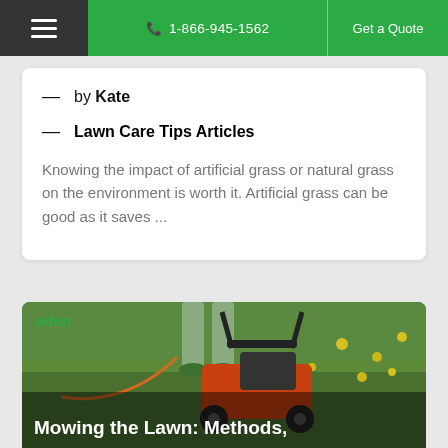☰  1-866-945-1562  |  Get a Quote
— by Kate
— Lawn Care Tips Articles
Knowing the impact of artificial grass or natural grass on the environment is worth it. Artificial grass can be good as it saves ...
[Figure (photo): Person mowing a lawn with an orange electric lawn mower on a green grass yard with dandelions. The eden logo appears in the top-left corner.]
Mowing the Lawn: Methods,